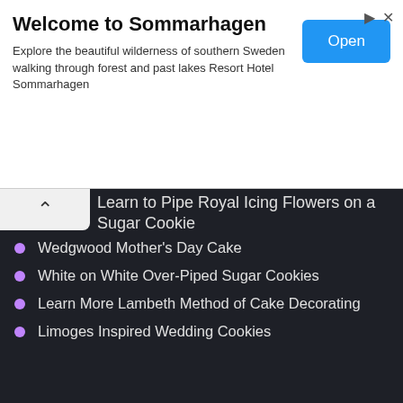[Figure (screenshot): Advertisement banner for Sommarhagen resort with Open button]
Welcome to Sommarhagen
Explore the beautiful wilderness of southern Sweden walking through forest and past lakes Resort Hotel Sommarhagen
Learn to Pipe Royal Icing Flowers on a Sugar Cookie
Wedgwood Mother's Day Cake
White on White Over-Piped Sugar Cookies
Learn More Lambeth Method of Cake Decorating
Limoges Inspired Wedding Cookies
Recent Comments
Cornelia M Bird on Glacé Whole Oranges
Sandi on Gluten Free Pâte à Croissants
Autumn Franklin on Oh My More Guimauves, Cherry Blossom- Strawberry Marshmallows
Barbie Michell on Gluten Free Pâte à Croissants